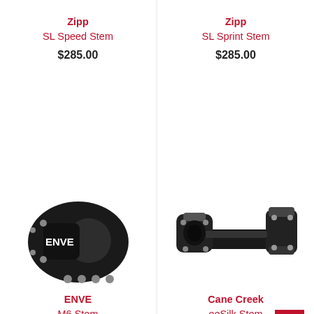Zipp
SL Speed Stem
$285.00
Zipp
SL Sprint Stem
$285.00
[Figure (photo): ENVE M6 Stem - black mountain bike stem with large faceplate and bolts, front view]
[Figure (photo): Cane Creek eeSilk Stem - black road bike stem, side/angled view showing steerer clamp and handlebar clamp]
ENVE
M6 Stem
$280.00
Cane Creek
eeSilk Stem
$229.99